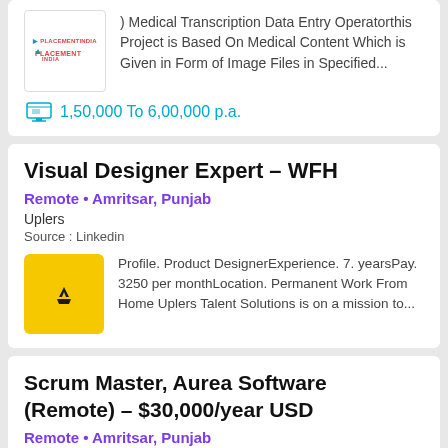) Medical Transcription Data Entry Operatorthis Project is Based On Medical Content Which is Given in Form of Image Files in Specified...
1,50,000 To 6,00,000 p.a.
Visual Designer Expert – WFH
Remote • Amritsar, Punjab
Uplers
Source : Linkedin
Profile. Product DesignerExperience. 7. yearsPay. 3250 per monthLocation. Permanent Work From Home Uplers Talent Solutions is on a mission to...
Scrum Master, Aurea Software (Remote) – $30,000/year USD
Remote • Amritsar, Punjab
Crossover for Work